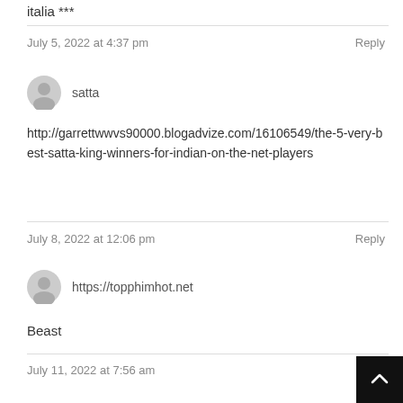italia ***
July 5, 2022 at 4:37 pm
Reply
satta
http://garrettwwvs90000.blogadvize.com/16106549/the-5-very-best-satta-king-winners-for-indian-on-the-net-players
July 8, 2022 at 12:06 pm
Reply
https://topphimhot.net
Beast
July 11, 2022 at 7:56 am
Re